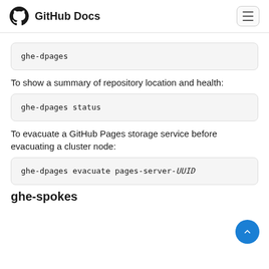GitHub Docs
ghe-dpages
To show a summary of repository location and health:
ghe-dpages status
To evacuate a GitHub Pages storage service before evacuating a cluster node:
ghe-dpages evacuate pages-server-UUID
ghe-spokes